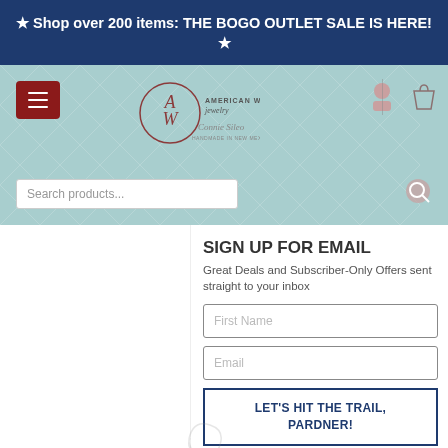★ Shop over 200 items: THE BOGO OUTLET SALE IS HERE! ★
[Figure (screenshot): American West Jewelry website header with logo, hamburger menu, search bar, user and cart icons on teal background with geometric pattern]
SIGN UP FOR EMAIL
Great Deals and Subscriber-Only Offers sent straight to your inbox
First Name
Email
LET'S HIT THE TRAIL, PARDNER!
[Figure (photo): Silver filigree cross pendant with dark red gemstone center, product thumbnail]
[Figure (photo): Person wearing jewelry, partial view showing hand and wrist]
Sterling Silver ...